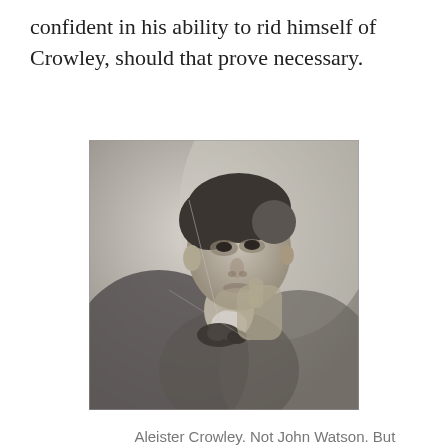confident in his ability to rid himself of Crowley, should that prove necessary.
[Figure (photo): Black and white portrait photograph of a young man in a suit jacket and bow tie, resting his chin on his hand, gazing to the side. The subject is identified in the caption as Aleister Crowley.]
Aleister Crowley. Not John Watson. But he does have the "3 Continents" thing going for him.